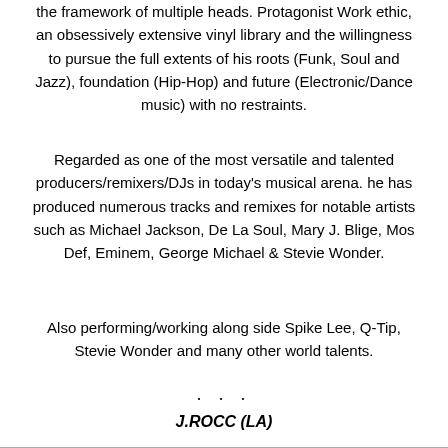the framework of multiple heads. Protagonist Work ethic, an obsessively extensive vinyl library and the willingness to pursue the full extents of his roots (Funk, Soul and Jazz), foundation (Hip-Hop) and future (Electronic/Dance music) with no restraints.
Regarded as one of the most versatile and talented producers/remixers/DJs in today's musical arena. he has produced numerous tracks and remixes for notable artists such as Michael Jackson, De La Soul, Mary J. Blige, Mos Def, Eminem, George Michael & Stevie Wonder.
Also performing/working along side Spike Lee, Q-Tip, Stevie Wonder and many other world talents.
· · ·
J.ROCC (LA)